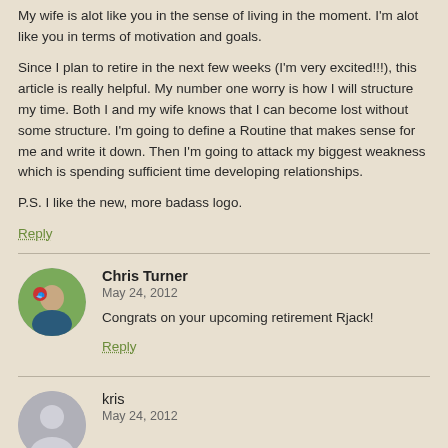My wife is alot like you in the sense of living in the moment. I'm alot like you in terms of motivation and goals.
Since I plan to retire in the next few weeks (I'm very excited!!!), this article is really helpful. My number one worry is how I will structure my time. Both I and my wife knows that I can become lost without some structure. I'm going to define a Routine that makes sense for me and write it down. Then I'm going to attack my biggest weakness which is spending sufficient time developing relationships.
P.S. I like the new, more badass logo.
Reply
Chris Turner
May 24, 2012
Congrats on your upcoming retirement Rjack!
Reply
kris
May 24, 2012